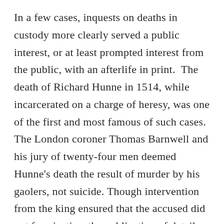In a few cases, inquests on deaths in custody more clearly served a public interest, or at least prompted interest from the public, with an afterlife in print.  The death of Richard Hunne in 1514, while incarcerated on a charge of heresy, was one of the first and most famous of such cases. The London coroner Thomas Barnwell and his jury of twenty-four men deemed Hunne's death the result of murder by his gaolers, not suicide. Though intervention from the king ensured that the accused did not face justice, the publication of details about the inquest at the time – and their reiteration in John Foxe's history of the Protestant Reformation and its martyrs – ensured this jury a place among the heroes of the Reformation, a